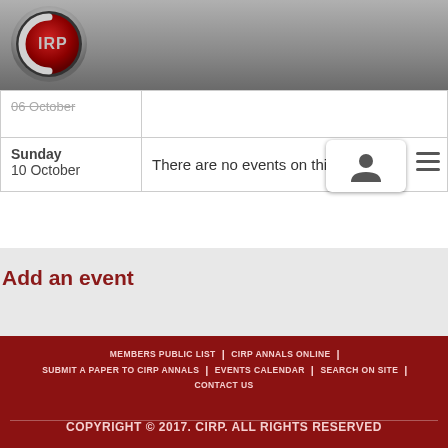[Figure (logo): CIRP circular logo with red background and metallic silver C arc]
| 06 October |  |
| Sunday
10 October | There are no events on this day. |
Add an event
MEMBERS PUBLIC LIST | CIRP ANNALS ONLINE | SUBMIT A PAPER TO CIRP ANNALS | EVENTS CALENDAR | SEARCH ON SITE | CONTACT US
COPYRIGHT © 2017. CIRP. ALL RIGHTS RESERVED